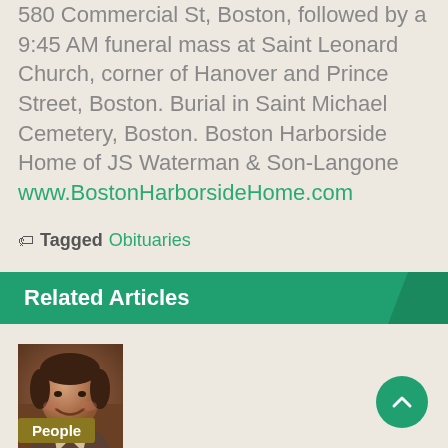580 Commercial St, Boston, followed by a 9:45 AM funeral mass at Saint Leonard Church, corner of Hanover and Prince Street, Boston. Burial in Saint Michael Cemetery, Boston. Boston Harborside Home of JS Waterman & Son-Langone www.BostonHarborsideHome.com
Tagged Obituaries
Related Articles
[Figure (photo): Portrait photo of a person smiling, dark hair, wearing a brown top]
People